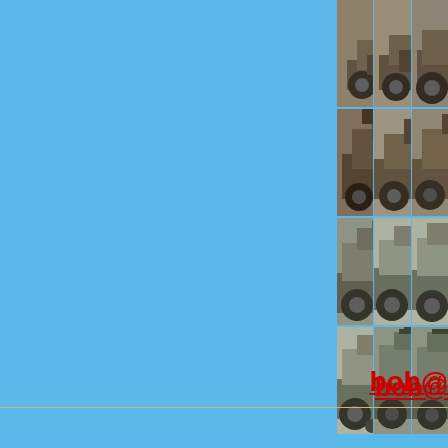[Figure (photo): Grid of vehicle/4x4 truck photos showing a restored Ford Bronco in various stages of build, arranged in 4 rows of 3 columns. The vehicles are shown from different angles including rear, front, and side views. Some photos show bare frame/chassis, others show painted completed vehicle.]
Click on an image for a l
bob@